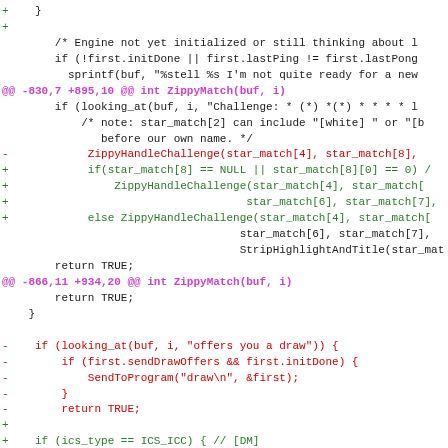Code diff showing changes to ZippyMatch function including ZippyHandleChallenge calls and draw offer handling